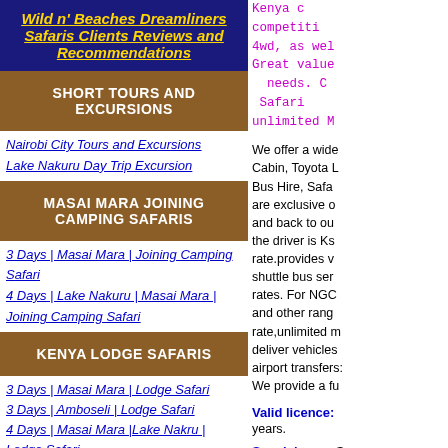Wild n' Beaches Dreamliners Safaris Clients Reviews and Recommendations
SHORT TOURS AND EXCURSIONS
Nairobi City Tours and Excursions
Lake Nakuru Day Trip Excursion
MASAI MARA JOINING CAMPING SAFARIS
3 Days | Masai Mara | Joining Camping Safari
4 Days | Lake Nakuru | Masai Mara | Joining Camping Safari
KENYA LODGE SAFARIS
3 Days | Masai Mara | Lodge Safari
3 Days | Amboseli | Lodge Safari
4 Days | Masai Mara |Lake Nakru | Lodge Safari
5 Days | Amboseli | Tsavo West National Park | Lodge Safari
6 Days | Amboseli | Lake Nakuru | Masai Mara | Lodge
Kenya c competitive 4wd, as wel Great value needs. C Safari unlimited M
We offer a wide Cabin, Toyota L Bus Hire, Safa are exclusive o and back to ou the driver is Ks rate.provides v shuttle bus ser rates. For NGC and other rang rate,unlimited m deliver vehicles airport transfer: We provide a f
Valid licence: years.
Special cars: good car of the